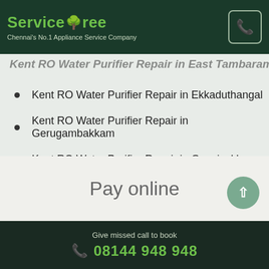ServiceTree – Chennai's No.1 Appliance Service Company
Kent RO Water Purifier Repair in East Tambaram
Kent RO Water Purifier Repair in Ekkaduthangal
Kent RO Water Purifier Repair in Gerugambakkam
Kent RO Water Purifier Repair in Gowrivakkam
Pay online
Give missed call to book
08144 948 948